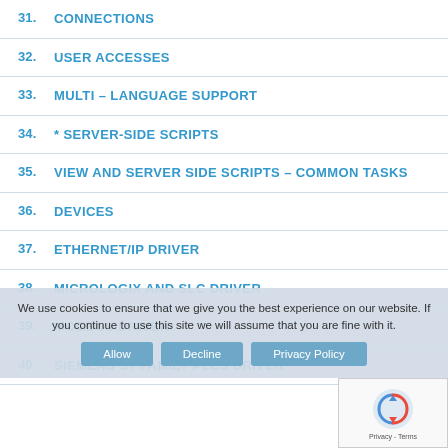31.  CONNECTIONS
32.  USER ACCESSES
33.  MULTI – LANGUAGE SUPPORT
34.  * SERVER-SIDE SCRIPTS
35.  VIEW AND SERVER SIDE SCRIPTS – COMMON TASKS
36.  DEVICES
37.  ETHERNET/IP DRIVER
38.  MICROLOGIX AND SLC DRIVER
39.  MODBUS DRIVER
40.  SIEMENS S7 FAMILY PLCS DRIVER